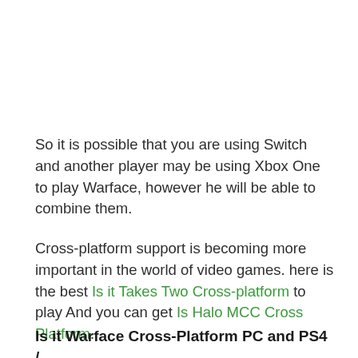So it is possible that you are using Switch and another player may be using Xbox One to play Warface, however he will be able to combine them.
Cross-platform support is becoming more important in the world of video games. here is the best Is it Takes Two Cross-platform to play And you can get Is Halo MCC Cross Platform.
Is it Warface Cross-Platform PC and PS4 /